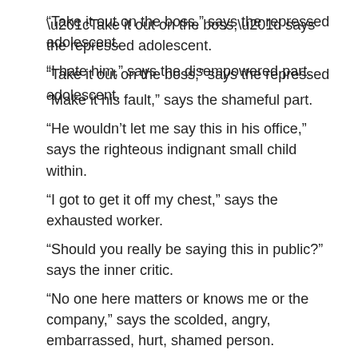“Take it out on the boss,” says the repressed adolescent.
“I hate him,” says the disempowered part.
“Make it his fault,” says the shameful part.
“He wouldn’t let me say this in his office,” says the righteous indignant small child within.
“I got to get it off my chest,” says the exhausted worker.
“Should you really be saying this in public?” says the inner critic.
“No one here matters or knows me or the company,” says the scolded, angry, embarrassed, hurt, shamed person.
All the while, Sam is divulging some potentially damaging company information in a public location including the names of some important people in the organization, the names of important accounts and